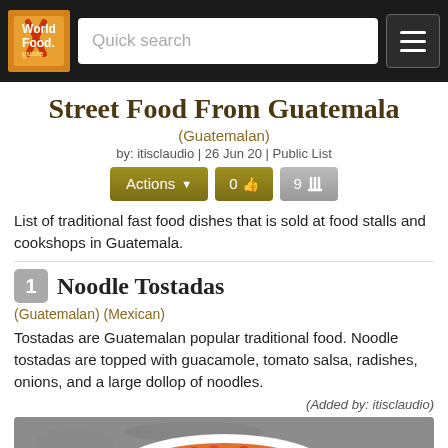World Food. guide — Quick search
Street Food From Guatemala
(Guatemalan)
by: itisclaudio | 26 Jun 20 | Public List
Actions  0  9
List of traditional fast food dishes that is sold at food stalls and cookshops in Guatemala.
1 Noodle Tostadas
(Guatemalan) (Mexican)
Tostadas are Guatemalan popular traditional food. Noodle tostadas are topped with guacamole, tomato salsa, radishes, onions, and a large dollop of noodles.
(Added by: itisclaudio)
[Figure (photo): Photo of Noodle Tostadas in a white bowl — orange-sauced tostada topped with vegetables and shredded cheese on a grey surface]